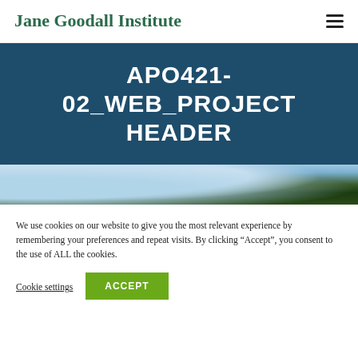Jane Goodall Institute
APO421-02_WEB_PROJECT HEADER
[Figure (photo): Partial photo strip showing palm trees and blue sky]
We use cookies on our website to give you the most relevant experience by remembering your preferences and repeat visits. By clicking “Accept”, you consent to the use of ALL the cookies.
Cookie settings  ACCEPT